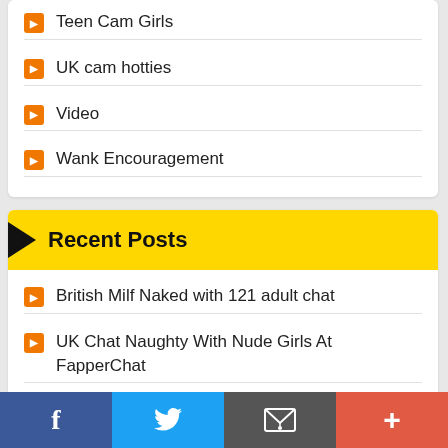Teen Cam Girls
UK cam hotties
Video
Wank Encouragement
Recent Posts
British Milf Naked with 121 adult chat
UK Chat Naughty With Nude Girls At FapperChat
Best mature wife on Bonga Cams
Anonymous & cheap sex chat with a skank teen that loves to fuck
f  [twitter]  [email]  +